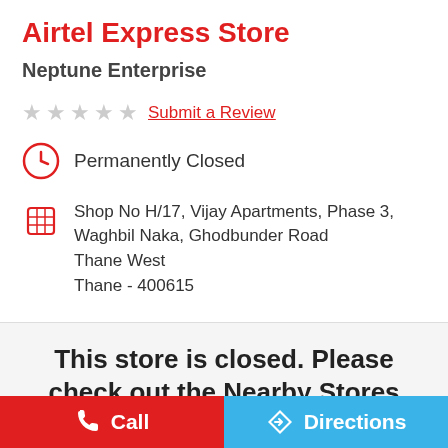Airtel Express Store
Neptune Enterprise
★★★★★  Submit a Review
Permanently Closed
Shop No H/17, Vijay Apartments, Phase 3, Waghbil Naka, Ghodbunder Road Thane West Thane - 400615
This store is closed. Please check out the Nearby Stores below
[Figure (map): Partial map view in light grey]
Call
Directions